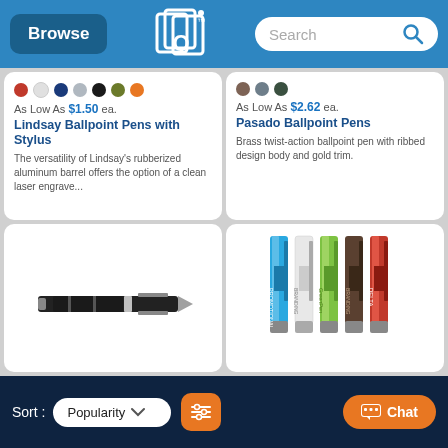Browse | Search
[Figure (photo): Color swatches for Lindsay Ballpoint Pens with Stylus: red, white, dark blue, light gray, black, olive, orange]
As Low As $1.50 ea.
Lindsay Ballpoint Pens with Stylus
The versatility of Lindsay's rubberized aluminum barrel offers the option of a clean laser engrave...
[Figure (photo): Color swatches for Pasado Ballpoint Pens: brown, gray, dark green]
As Low As $2.62 ea.
Pasado Ballpoint Pens
Brass twist-action ballpoint pen with ribbed design body and gold trim.
[Figure (photo): A single black ballpoint pen with silver accents shown horizontally]
[Figure (photo): Five pens in various colors (blue, white, green, brown, red) standing vertically with brand logos]
Sort: Popularity   [filter icon]   Chat